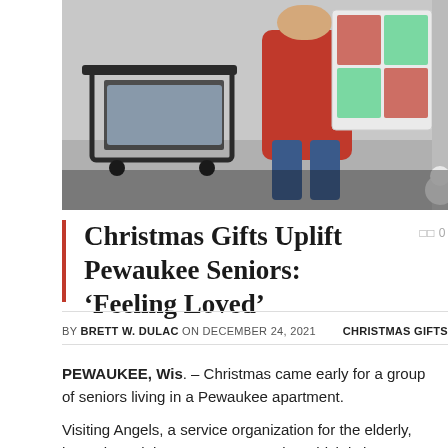[Figure (photo): Photo of a person in a red sweater standing near a shopping cart filled with items, inside an apartment hallway decorated with Christmas quilt/banner on the wall.]
Christmas Gifts Uplift Pewaukee Seniors: ‘Feeling Loved’
BY BRETT W. DULAC ON DECEMBER 24, 2021  CHRISTMAS GIFTS
PEWAUKEE, Wis. – Christmas came early for a group of seniors living in a Pewaukee apartment.
Visiting Angels, a service organization for the elderly, has adopted the apartment complex which is home to 101 elderly people – with each resident receiving a special gift.